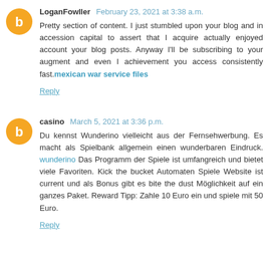LoganFowller  February 23, 2021 at 3:38 a.m.
Pretty section of content. I just stumbled upon your blog and in accession capital to assert that I acquire actually enjoyed account your blog posts. Anyway I'll be subscribing to your augment and even I achievement you access consistently fast. mexican war service files
Reply
casino  March 5, 2021 at 3:36 p.m.
Du kennst Wunderino vielleicht aus der Fernsehwerbung. Es macht als Spielbank allgemein einen wunderbaren Eindruck. wunderino Das Programm der Spiele ist umfangreich und bietet viele Favoriten. Kick the bucket Automaten Spiele Website ist current und als Bonus gibt es bite the dust Möglichkeit auf ein ganzes Paket. Reward Tipp: Zahle 10 Euro ein und spiele mit 50 Euro.
Reply